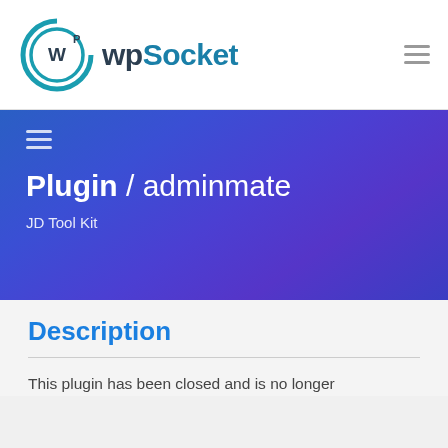WPSocket
[Figure (logo): WPSocket logo with circular WP icon and teal/dark text]
Plugin / adminmate
JD Tool Kit
Description
This plugin has been closed and is no longer